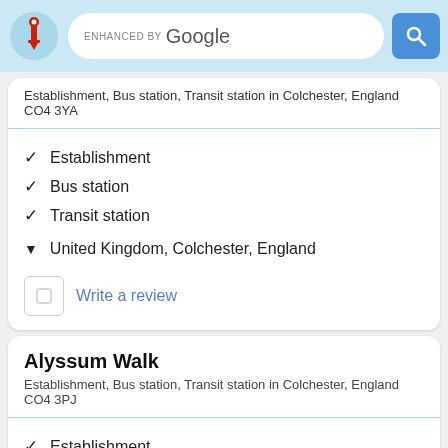ENHANCED BY Google
Establishment, Bus station, Transit station in Colchester, England CO4 3YA
✓ Establishment
✓ Bus station
✓ Transit station
▼ United Kingdom, Colchester, England
Write a review
Alyssum Walk
Establishment, Bus station, Transit station in Colchester, England CO4 3PJ
✓ Establishment